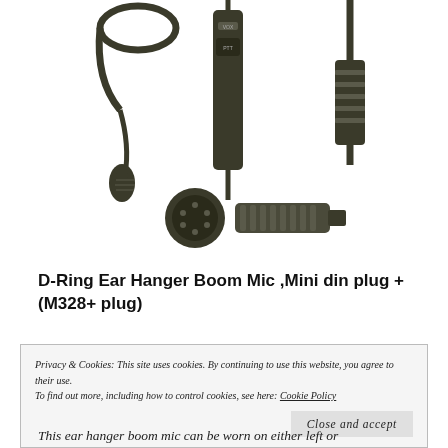[Figure (photo): Product photo showing three components of a D-Ring Ear Hanger Boom Mic set: left shows the ear hook with boom microphone, center shows the inline PTT/VOX control unit with cable, right shows a connector cable end. Below is a close-up of the connector plug (Mini DIN) shown from two angles.]
D-Ring Ear Hanger Boom Mic ,Mini din plug + (M328+ plug)
Privacy & Cookies: This site uses cookies. By continuing to use this website, you agree to their use.
To find out more, including how to control cookies, see here: Cookie Policy
This ear hanger boom mic can be worn on either left or